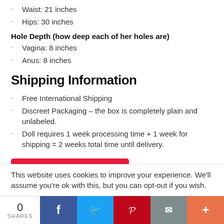Waist: 21 inches
Hips: 30 inches
Hole Depth (how deep each of her holes are)
Vagina: 8 inches
Anus: 8 inches
Shipping Information
Free International Shipping
Discreet Packaging – the box is completely plain and unlabeled.
Doll requires 1 week processing time + 1 week for shipping = 2 weeks total time until delivery.
CHECK BEST PRICE
Category: Sanhui Tag: Silicon Wives
This website uses cookies to improve your experience. We'll assume you're ok with this, but you can opt-out if you wish.